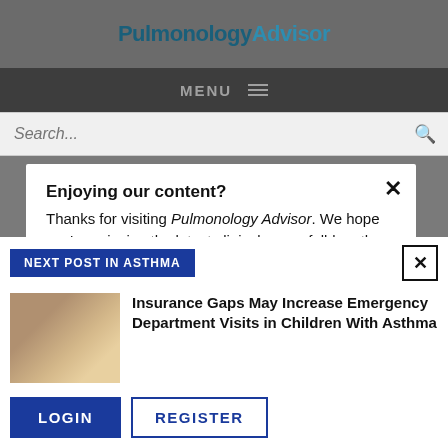PulmonologyAdvisor
MENU
Search...
Enjoying our content?
Thanks for visiting Pulmonology Advisor. We hope you're enjoying the latest clinical news, full-length features, case studies, and more.
NEXT POST IN ASTHMA
Insurance Gaps May Increase Emergency Department Visits in Children With Asthma
LOGIN   REGISTER